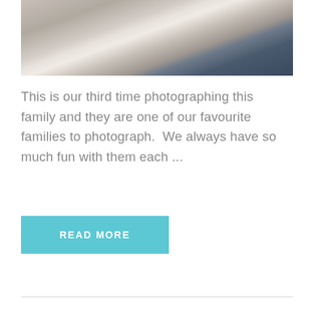[Figure (photo): A family photo showing a woman in a white top and jeans, a man in a navy blue shirt, and a young child in an orange outfit, posed together outdoors against a light background.]
This is our third time photographing this family and they are one of our favourite families to photograph.  We always have so much fun with them each ...
READ MORE